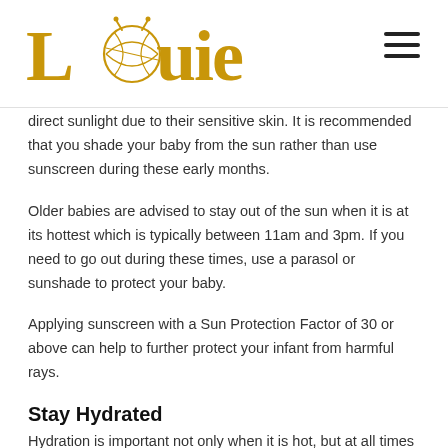Louie
direct sunlight due to their sensitive skin. It is recommended that you shade your baby from the sun rather than use sunscreen during these early months.
Older babies are advised to stay out of the sun when it is at its hottest which is typically between 11am and 3pm. If you need to go out during these times, use a parasol or sunshade to protect your baby.
Applying sunscreen with a Sun Protection Factor of 30 or above can help to further protect your infant from harmful rays.
Stay Hydrated
Hydration is important not only when it is hot, but at all times of the